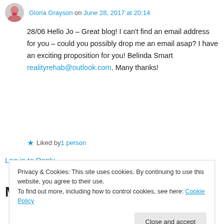Gloria Grayson on June 28, 2017 at 20:14
28/06 Hello Jo – Great blog! I can't find an email address for you – could you possibly drop me an email asap? I have an exciting proposition for you! Belinda Smart realityrehab@outlook.com. Many thanks!
★ Liked by 1 person
Log in to Reply
Made Easy
Privacy & Cookies: This site uses cookies. By continuing to use this website, you agree to their use.
To find out more, including how to control cookies, see here: Cookie Policy
Close and accept